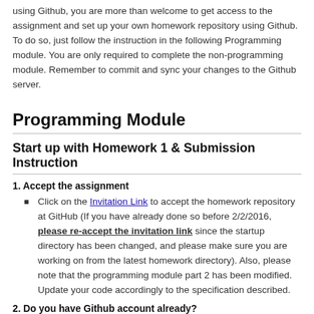using Github, you are more than welcome to get access to the assignment and set up your own homework repository using Github. To do so, just follow the instruction in the following Programming module. You are only required to complete the non-programming module. Remember to commit and sync your changes to the Github server.
Programming Module
Start up with Homework 1 & Submission Instruction
1. Accept the assignment
Click on the Invitation Link to accept the homework repository at GitHub (If you have already done so before 2/2/2016, please re-accept the invitation link since the startup directory has been changed, and please make sure you are working on from the latest homework directory). Also, please note that the programming module part 2 has been modified. Update your code accordingly to the specification described.
2. Do you have Github account already?